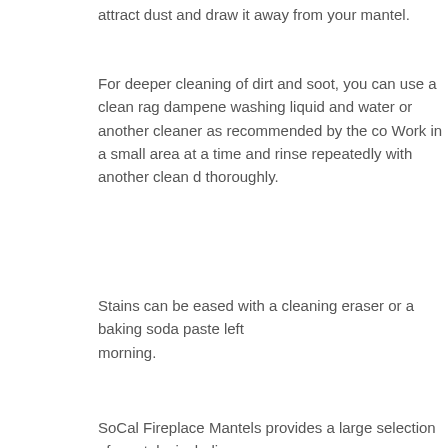attract dust and draw it away from your mantel.
For deeper cleaning of dirt and soot, you can use a clean rag dampened with washing liquid and water or another cleaner as recommended by the co. Work in a small area at a time and rinse repeatedly with another clean cloth thoroughly.
Stains can be eased with a cleaning eraser or a baking soda paste left morning.
SoCal Fireplace Mantels provides a large selection of mantels, including. If you have any questions regarding the care and cleaning of mantels b friendly and qualified representatives for more information.
Back to Blog